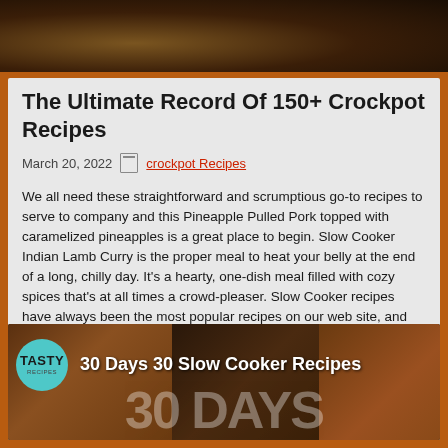[Figure (photo): Dark food photo banner at top of page showing a bowl with ingredients in a dark background]
The Ultimate Record Of 150+ Crockpot Recipes
March 20, 2022   crockpot Recipes
We all need these straightforward and scrumptious go-to recipes to serve to company and this Pineapple Pulled Pork topped with caramelized pineapples is a great place to begin. Slow Cooker Indian Lamb Curry is the proper meal to heat your belly at the end of a long, chilly day. It's a hearty, one-dish meal filled with cozy spices that's at all times a crowd-pleaser. Slow Cooker recipes have always been the most popular recipes on our web site, and for good cause. When you've got a busy day ahead – just throw every little thing in at breakfast, and it's ready by the time you stroll via the door for dinner.
[Figure (photo): Food collage banner showing three panels of slow cooker dishes with Tasty badge logo and text '30 Days 30 Slow Cooker Recipes']